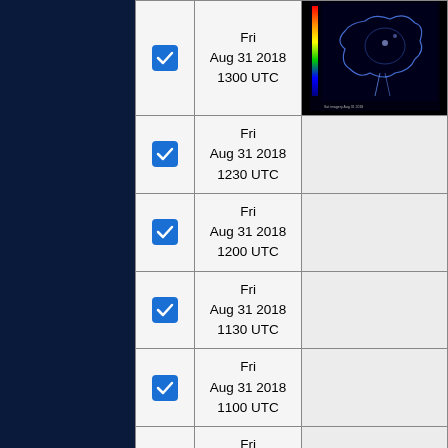|  | Date/Time | Image |
| --- | --- | --- |
| ☑ | Fri Aug 31 2018 1300 UTC | [satellite image] |
| ☑ | Fri Aug 31 2018 1230 UTC |  |
| ☑ | Fri Aug 31 2018 1200 UTC |  |
| ☑ | Fri Aug 31 2018 1130 UTC |  |
| ☑ | Fri Aug 31 2018 1100 UTC |  |
| ☑ | Fri Aug 31 2018 1030 UTC |  |
| ☑ | Fri Aug 31 2018 1000 UTC |  |
| ☑ | Fri Aug 31 2018 0930 UTC |  |